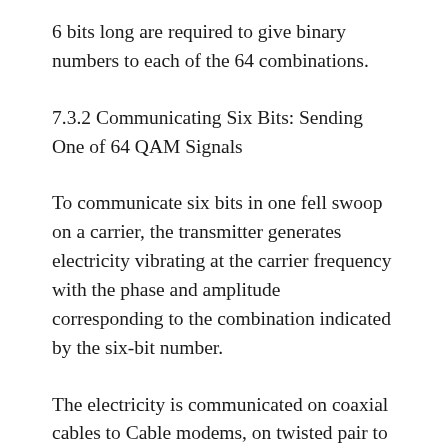6 bits long are required to give binary numbers to each of the 64 combinations.
7.3.2 Communicating Six Bits: Sending One of 64 QAM Signals
To communicate six bits in one fell swoop on a carrier, the transmitter generates electricity vibrating at the carrier frequency with the phase and amplitude corresponding to the combination indicated by the six-bit number.
The electricity is communicated on coaxial cables to Cable modems, on twisted pair to DSL modems, turned into radio by antennas for communication through space, or turned into